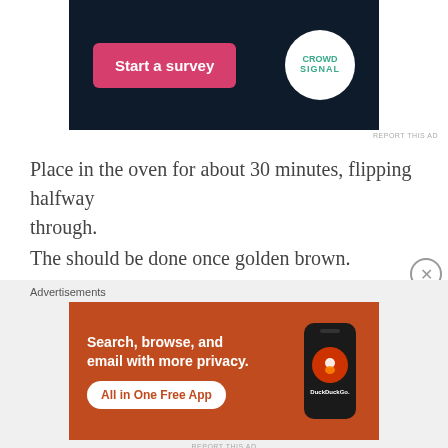[Figure (screenshot): Top advertisement banner with dark navy background. A pink 'Start a survey' button on the left and a white circular Crowd Signal logo on the right.]
Place in the oven for about 30 minutes, flipping halfway through.
The should be done once golden brown.
You can then assemble the tacos.
For the tacos
1/2 cup gram flour (also called besan)
[Figure (screenshot): Bottom advertisement banner for DuckDuckGo. Orange/red background with white bold text 'Search, browse, and email with more privacy.' and a white pill button 'All in One Free App'. Right side shows a phone with DuckDuckGo logo.]